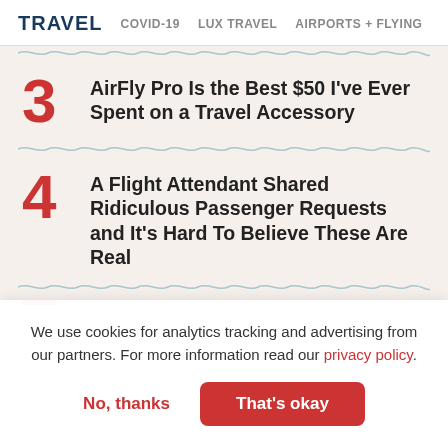TRAVEL   COVID-19   LUX TRAVEL   AIRPORTS + FLYING
3 AirFly Pro Is the Best $50 I've Ever Spent on a Travel Accessory
4 A Flight Attendant Shared Ridiculous Passenger Requests and It's Hard To Believe These Are Real
We use cookies for analytics tracking and advertising from our partners. For more information read our privacy policy.
No, thanks   That's okay